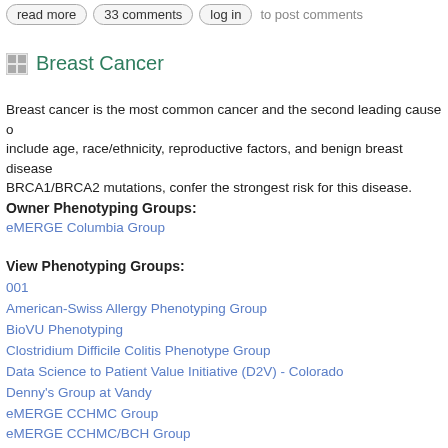read more   33 comments   log in   to post comments
Breast Cancer
Breast cancer is the most common cancer and the second leading cause o... include age, race/ethnicity, reproductive factors, and benign breast disease... BRCA1/BRCA2 mutations, confer the strongest risk for this disease.
Owner Phenotyping Groups:
eMERGE Columbia Group
View Phenotyping Groups:
001
American-Swiss Allergy Phenotyping Group
BioVU Phenotyping
Clostridium Difficile Colitis Phenotype Group
Data Science to Patient Value Initiative (D2V) - Colorado
Denny’s Group at Vandy
eMERGE CCHMC Group
eMERGE CCHMC/BCH Group
eMERGE CHOP Group
eMERGE Columbia Group